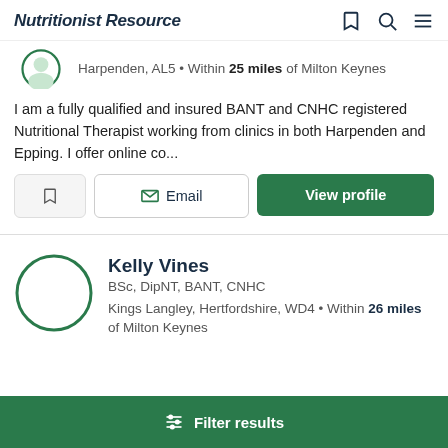Nutritionist Resource
Harpenden, AL5 • Within 25 miles of Milton Keynes
I am a fully qualified and insured BANT and CNHC registered Nutritional Therapist working from clinics in both Harpenden and Epping. I offer online co...
Email | View profile
Kelly Vines
BSc, DipNT, BANT, CNHC
Kings Langley, Hertfordshire, WD4 • Within 26 miles of Milton Keynes
Filter results